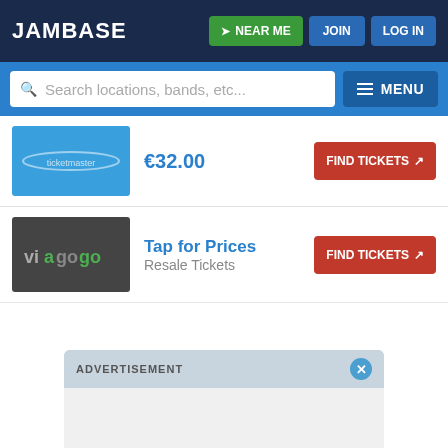JamBase — NEAR ME | JOIN | LOG IN
Search locations, bands, etc...
€32.00 — FIND TICKETS
Tap for Prices — Resale Tickets — FIND TICKETS
ADVERTISEMENT